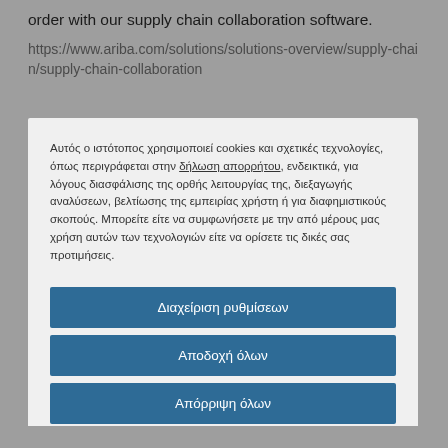order with our supply chain collaboration software.
https://www.ariba.com/solutions/solutions-overview/supply-chain/supply-chain-collaboration
Αυτός ο ιστότοπος χρησιμοποιεί cookies και σχετικές τεχνολογίες, όπως περιγράφεται στην δήλωση απορρήτου, ενδεικτικά, για λόγους διασφάλισης της ορθής λειτουργίας της, διεξαγωγής αναλύσεων, βελτίωσης της εμπειρίας χρήστη ή για διαφημιστικούς σκοπούς. Μπορείτε είτε να συμφωνήσετε με την από μέρους μας χρήση αυτών των τεχνολογιών είτε να ορίσετε τις δικές σας προτιμήσεις.
Διαχείριση ρυθμίσεων
Αποδοχή όλων
Απόρριψη όλων
Δήλωση για τα Cookies